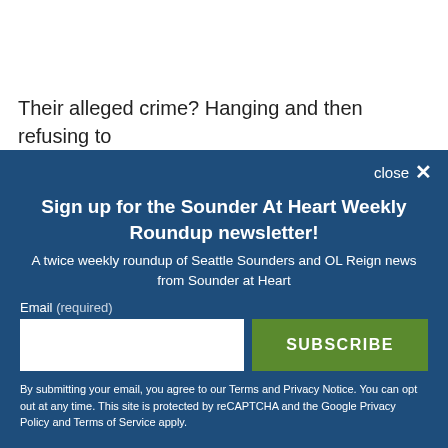Their alleged crime? Hanging and then refusing to
Sign up for the Sounder At Heart Weekly Roundup newsletter!
A twice weekly roundup of Seattle Sounders and OL Reign news from Sounder at Heart
Email (required)
SUBSCRIBE
By submitting your email, you agree to our Terms and Privacy Notice. You can opt out at any time. This site is protected by reCAPTCHA and the Google Privacy Policy and Terms of Service apply.